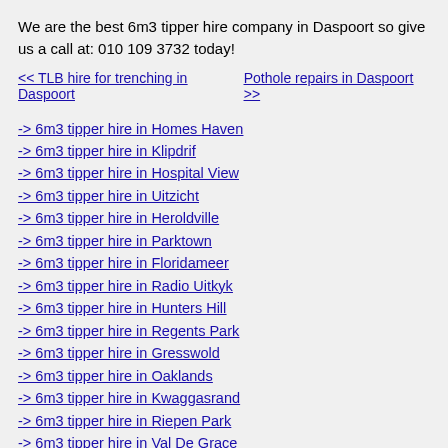We are the best 6m3 tipper hire company in Daspoort so give us a call at: 010 109 3732 today!
<< TLB hire for trenching in Daspoort
Pothole repairs in Daspoort >>
-> 6m3 tipper hire in Homes Haven
-> 6m3 tipper hire in Klipdrif
-> 6m3 tipper hire in Hospital View
-> 6m3 tipper hire in Uitzicht
-> 6m3 tipper hire in Heroldville
-> 6m3 tipper hire in Parktown
-> 6m3 tipper hire in Floridameer
-> 6m3 tipper hire in Radio Uitkyk
-> 6m3 tipper hire in Hunters Hill
-> 6m3 tipper hire in Regents Park
-> 6m3 tipper hire in Gresswold
-> 6m3 tipper hire in Oaklands
-> 6m3 tipper hire in Kwaggasrand
-> 6m3 tipper hire in Riepen Park
-> 6m3 tipper hire in Val De Grace
-> 6m3 tipper hire in La Concorde
-> 6m3 tipper hire in Georgeville
-> 6m3 tipper hire in Montecello
-> 6m3 tipper hire in Downburn
-> 6m3 tipper hire in Forest Town
-> 6m3 tipper hire in Graymont